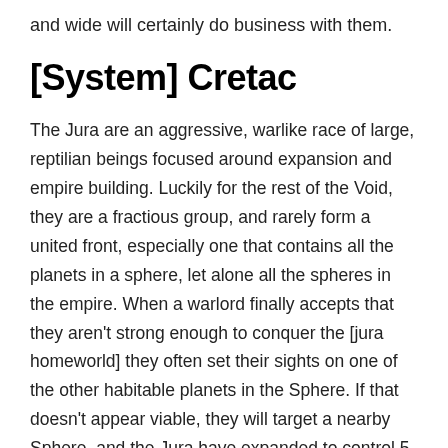and wide will certainly do business with them.
[System] Cretac
The Jura are an aggressive, warlike race of large, reptilian beings focused around expansion and empire building. Luckily for the rest of the Void, they are a fractious group, and rarely form a united front, especially one that contains all the planets in a sphere, let alone all the spheres in the empire. When a warlord finally accepts that they aren't strong enough to conquer the [jura homeworld] they often set their sights on one of the other habitable planets in the Sphere. If that doesn't appear viable, they will target a nearby Sphere, and the Jura have expanded to control 5 Spheres in this manner, making them, in spite of their fractious nature, one of the major empires in the Void.